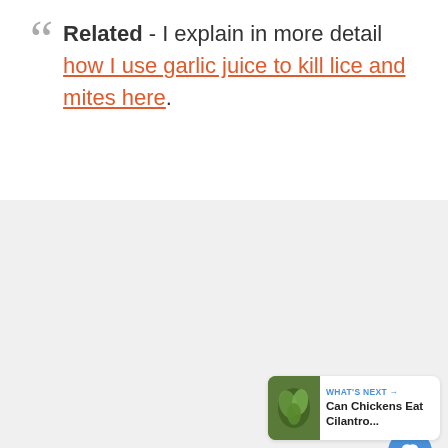Related - I explain in more detail how I use garlic juice to kill lice and mites here.
[Figure (screenshot): Gray background panel with like button (heart icon, blue circle), like count of 1, share button, dot navigation indicators, and a 'What's Next' card showing 'Can Chickens Eat Cilantro...']